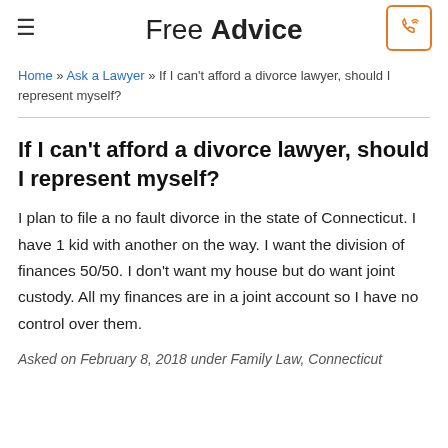Free Advice
Home » Ask a Lawyer » If I can't afford a divorce lawyer, should I represent myself?
If I can't afford a divorce lawyer, should I represent myself?
I plan to file a no fault divorce in the state of Connecticut. I have 1 kid with another on the way. I want the division of finances 50/50. I don't want my house but do want joint custody. All my finances are in a joint account so I have no control over them.
Asked on February 8, 2018 under Family Law, Connecticut